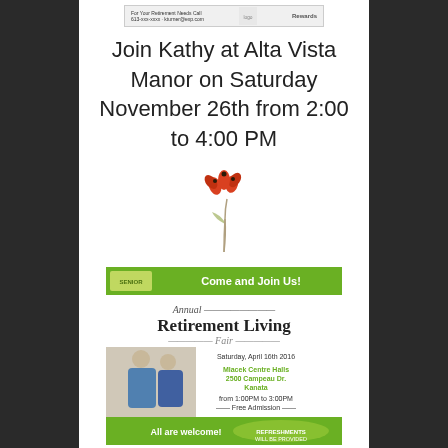[Figure (logo): Top banner/logo strip with small logo and text]
Join Kathy at Alta Vista Manor on Saturday November 26th from 2:00 to 4:00 PM
[Figure (illustration): Small orange poppy flower illustration]
[Figure (infographic): Annual Retirement Living Fair flyer - green banner header saying Come and Join Us!, Saturday April 16th 2016, Milacek Centre Halls, 2500 Campeau Dr, Kanata, from 1:00PM to 3:00PM, Free Admission, All are welcome!]
K. Turner